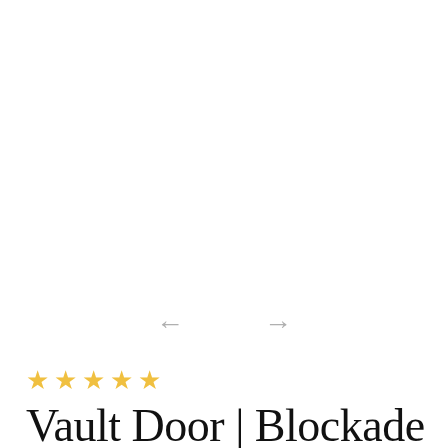[Figure (other): Navigation arrows (left and right chevrons) for an image carousel, displayed in light gray]
☆☆☆☆☆
Vault Door | Blockade | Left Inswing | Black | Black